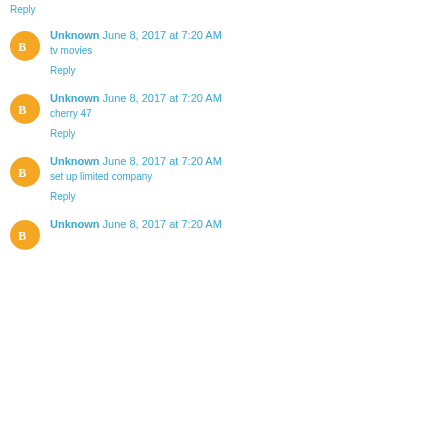Reply
Unknown June 8, 2017 at 7:20 AM
tv movies
Reply
Unknown June 8, 2017 at 7:20 AM
cherry 47
Reply
Unknown June 8, 2017 at 7:20 AM
set up limited company
Reply
Unknown June 8, 2017 at 7:20 AM